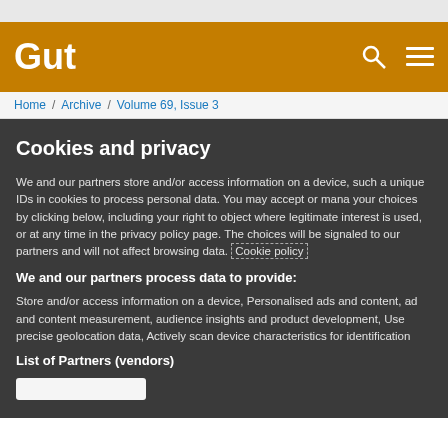Gut
Home / Archive / Volume 69, Issue 3
Cookies and privacy
We and our partners store and/or access information on a device, such as unique IDs in cookies to process personal data. You may accept or manage your choices by clicking below, including your right to object where legitimate interest is used, or at any time in the privacy policy page. These choices will be signaled to our partners and will not affect browsing data. Cookie policy
We and our partners process data to provide:
Store and/or access information on a device, Personalised ads and content, ad and content measurement, audience insights and product development, Use precise geolocation data, Actively scan device characteristics for identification
List of Partners (vendors)